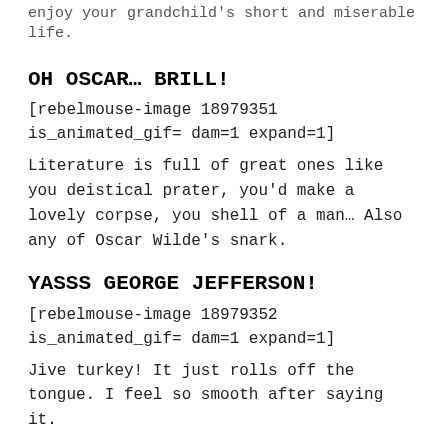enjoy your grandchild's short and miserable life.
OH OSCAR… BRILL!
[rebelmouse-image 18979351 is_animated_gif= dam=1 expand=1]
Literature is full of great ones like you deistical prater, you'd make a lovely corpse, you shell of a man… Also any of Oscar Wilde's snark.
YASSS GEORGE JEFFERSON!
[rebelmouse-image 18979352 is_animated_gif= dam=1 expand=1]
Jive turkey! It just rolls off the tongue. I feel so smooth after saying it.
ACTION AND NOT WORDS